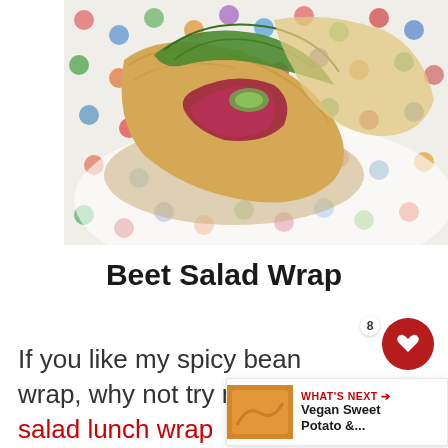[Figure (photo): A beet salad wrap cut in half showing beets, cucumber, and leafy greens in a tortilla wrap, placed on a white plate with colorful polka dot surface]
Beet Salad Wrap
If you like my spicy bean wrap, why not try my beet salad lunch wrap
[Figure (other): WHAT'S NEXT arrow label with thumbnail image of a dish and text: Vegan Sweet Potato &...]